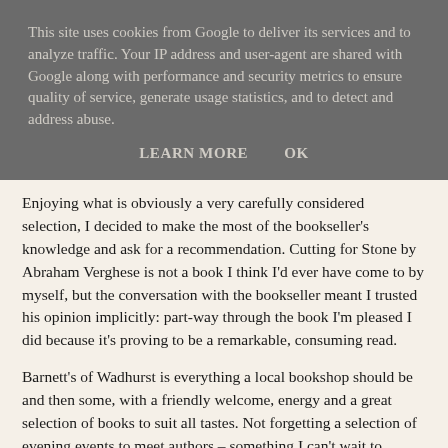This site uses cookies from Google to deliver its services and to analyze traffic. Your IP address and user-agent are shared with Google along with performance and security metrics to ensure quality of service, generate usage statistics, and to detect and address abuse.
LEARN MORE    OK
Enjoying what is obviously a very carefully considered selection, I decided to make the most of the bookseller's knowledge and ask for a recommendation. Cutting for Stone by Abraham Verghese is not a book I think I'd ever have come to by myself, but the conversation with the bookseller meant I trusted his opinion implicitly: part-way through the book I'm pleased I did because it's proving to be a remarkable, consuming read.
Barnett's of Wadhurst is everything a local bookshop should be and then some, with a friendly welcome, energy and a great selection of books to suit all tastes. Not forgetting a selection of evening events to meet authors – something I can't wait to experience for myself.